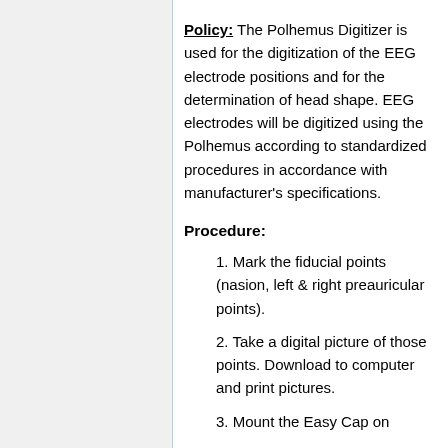Policy: The Polhemus Digitizer is used for the digitization of the EEG electrode positions and for the determination of head shape. EEG electrodes will be digitized using the Polhemus according to standardized procedures in accordance with manufacturer's specifications.
Procedure:
1. Mark the fiducial points (nasion, left & right preauricular points).
2. Take a digital picture of those points. Download to computer and print pictures.
3. Mount the Easy Cap on...